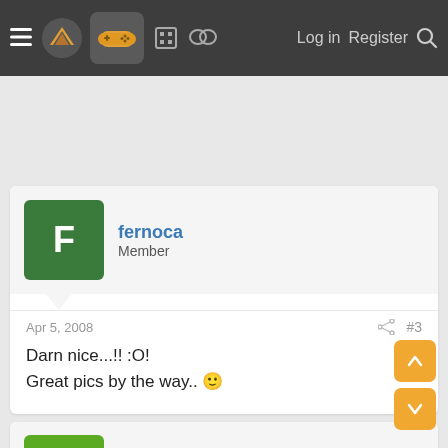Navigation bar with logo, controller icon, forum icons, Log in, Register, Search
[Figure (screenshot): Ad/empty space area]
fernoca
Member
Apr 5, 2008   #3
Darn nice...!! :O!
Great pics by the way.. 🙂
Lobster
Banned